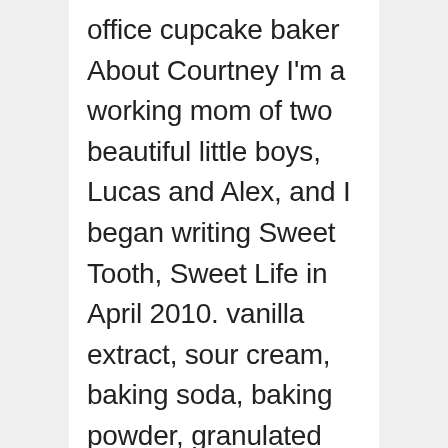office cupcake baker About Courtney I'm a working mom of two beautiful little boys, Lucas and Alex, and I began writing Sweet Tooth, Sweet Life in April 2010. vanilla extract, sour cream, baking soda, baking powder, granulated sugar and 9 more. In a large bowl, using an electric or stand mixer on medium speed, beat eggs and sugar for 2 … The perfect combination of fresh cherries, almond and vanilla, Total Carbohydrate Made with yellow cake mix, instant vanilla pudding mix, almond extract, a jar of maraschino cherries, and